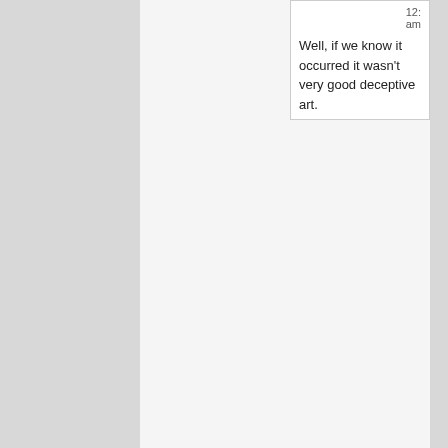12: am
Well, if we know it occurred it wasn't very good deceptive art.
momsense1
May 15, 2015 at 5:00 am
Note to our new Republican( I hope) president —— extradite George Soros to Eastern Europe where he's a